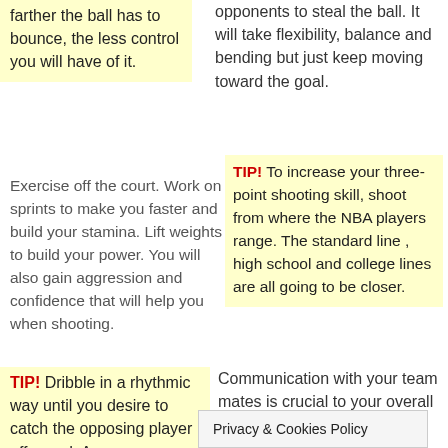farther the ball has to bounce, the less control you will have of it.
opponents to steal the ball. It will take flexibility, balance and bending but just keep moving toward the goal.
Exercise off the court. Work on sprints to make you faster and build your stamina. Lift weights to build your power. You will also gain aggression and confidence that will help you when shooting.
TIP! To increase your three-point shooting skill, shoot from where the NBA players range. The standard line , high school and college lines are all going to be closer.
TIP! Dribble in a rhythmic way until you desire to catch the opposing player off guard. A
Communication with your team mates is crucial to your overall
Privacy & Cookies Policy